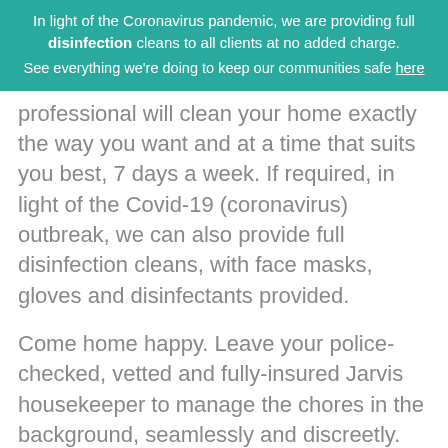In light of the Coronavirus pandemic, we are providing full disinfection cleans to all clients at no added charge. See everything we're doing to keep our communities safe here
professional will clean your home exactly the way you want and at a time that suits you best, 7 days a week. If required, in light of the Covid-19 (coronavirus) outbreak, we can also provide full disinfection cleans, with face masks, gloves and disinfectants provided.
Come home happy. Leave your police-checked, vetted and fully-insured Jarvis housekeeper to manage the chores in the background, seamlessly and discreetly. So you can do what you'd rather be doing.